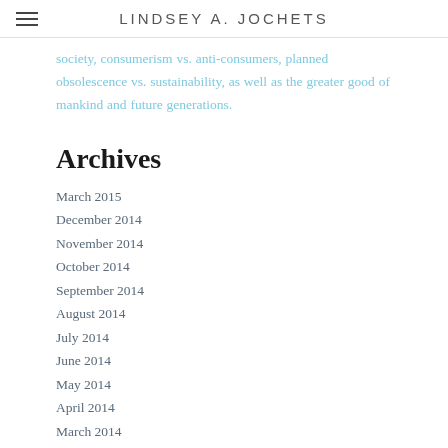LINDSEY A. JOCHETS
society, consumerism vs. anti-consumers, planned obsolescence vs. sustainability, as well as the greater good of mankind and future generations.
Archives
March 2015
December 2014
November 2014
October 2014
September 2014
August 2014
July 2014
June 2014
May 2014
April 2014
March 2014
February 2014
January 2014